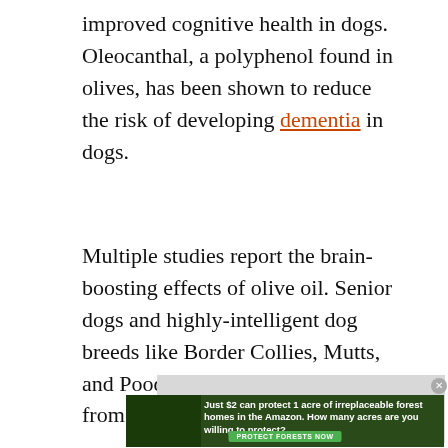improved cognitive health in dogs. Oleocanthal, a polyphenol found in olives, has been shown to reduce the risk of developing dementia in dogs.
Multiple studies report the brain-boosting effects of olive oil. Senior dogs and highly-intelligent dog breeds like Border Collies, Mutts, and Poodles can benefit greatly from consuming olive oil daily.
[Figure (other): Video player placeholder showing 'No compatible source was found for this media.' message on a grey background with a close button.]
[Figure (other): Advertisement banner with dark green forest background showing text 'Just $2 can protect 1 acre of irreplaceable forest homes in the Amazon. How many acres are you willing to protect?' with a green 'PROTECT FORESTS NOW' button.]